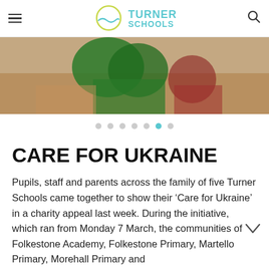Turner Schools
[Figure (photo): Children sitting with green chairs/objects, partial view from above, school setting]
[Figure (other): Carousel navigation dots, 7 dots with 6th dot highlighted in teal/blue]
CARE FOR UKRAINE
Pupils, staff and parents across the family of five Turner Schools came together to show their ‘Care for Ukraine’ in a charity appeal last week. During the initiative, which ran from Monday 7 March, the communities of Folkestone Academy, Folkestone Primary, Martello Primary, Morehall Primary and